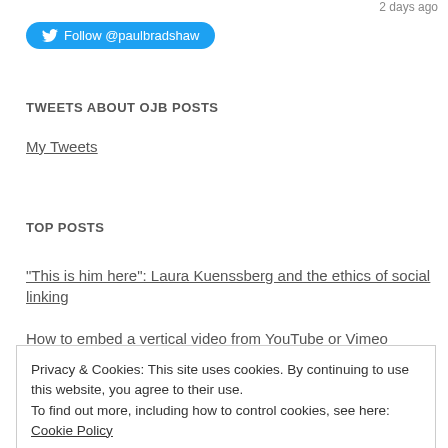2 days ago
[Figure (other): Twitter Follow button with bird logo: Follow @paulbradshaw]
TWEETS ABOUT OJB POSTS
My Tweets
TOP POSTS
"This is him here": Laura Kuenssberg and the ethics of social linking
How to embed a vertical video from YouTube or Vimeo (partial, cut off)
Privacy & Cookies: This site uses cookies. By continuing to use this website, you agree to their use.
To find out more, including how to control cookies, see here: Cookie Policy
Close and accept
How to: embed images in 'tweet this' links.